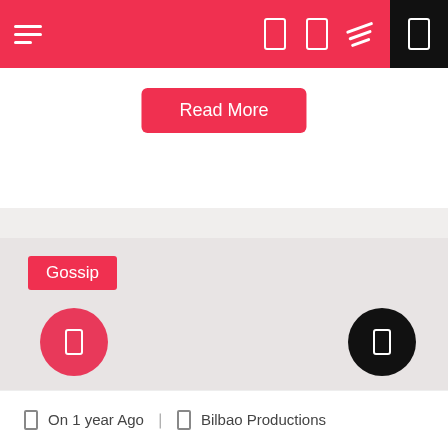Navigation bar with hamburger menu, icons, and black section
Read More
Gossip
On 1 year Ago   Bilbao Productions